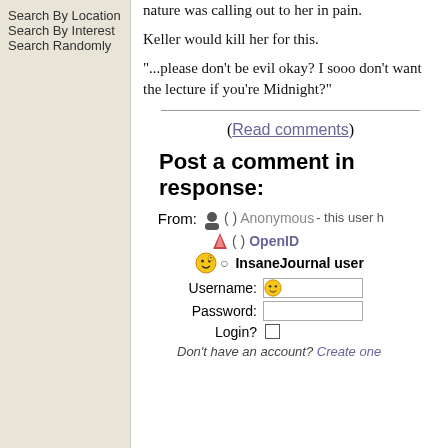Search By Location
Search By Interest
Search Randomly
nature was calling out to her in pain.
Keller would kill her for this.
"...please don't be evil okay? I sooo don't want the lecture if you're Midnight?"
(Read comments)
Post a comment in response:
From: ( ) Anonymous- this user h... ( ) OpenID  InsaneJournal user
Username:
Password:
Login?
Don't have an account? Create one